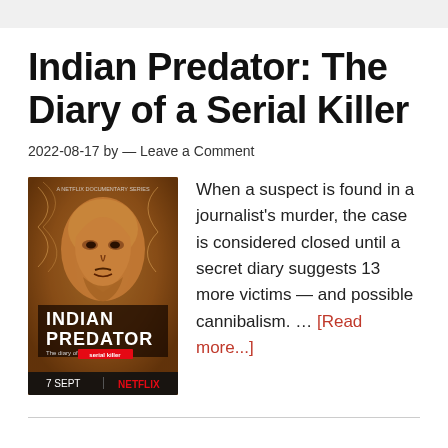Indian Predator: The Diary of a Serial Killer
2022-08-17 by — Leave a Comment
[Figure (photo): Netflix documentary series poster for 'Indian Predator: The Diary of a Serial Killer' showing a man's face with text '7 SEPT | NETFLIX']
When a suspect is found in a journalist's murder, the case is considered closed until a secret diary suggests 13 more victims — and possible cannibalism. … [Read more...]